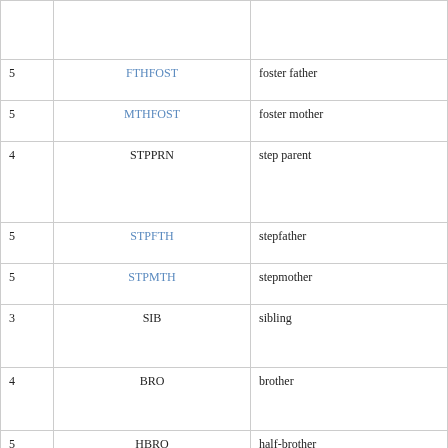|  |  |  |
| --- | --- | --- |
|  |  |  |
| 5 | FTHFOST | foster father |
| 5 | MTHFOST | foster mother |
| 4 | STPPRN | step parent |
| 5 | STPFTH | stepfather |
| 5 | STPMTH | stepmother |
| 3 | SIB | sibling |
| 4 | BRO | brother |
| 5 | HBRO | half-brother |
| 5 | NBRO | natural brother |
| 6 | TWINBRO | twin brother |